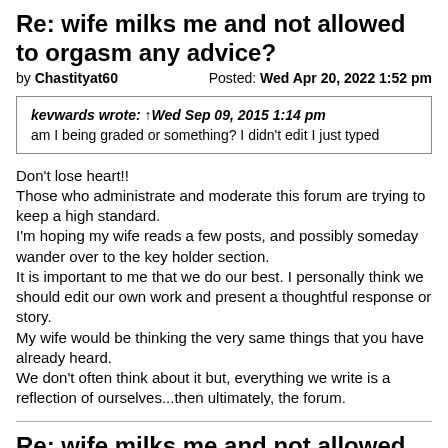Re: wife milks me and not allowed to orgasm any advice?
by Chastityat60    Posted: Wed Apr 20, 2022 1:52 pm
kevwards wrote: ↑Wed Sep 09, 2015 1:14 pm
am I being graded or something? I didn't edit I just typed
Don't lose heart!!
Those who administrate and moderate this forum are trying to keep a high standard.
I'm hoping my wife reads a few posts, and possibly someday wander over to the key holder section.
It is important to me that we do our best. I personally think we should edit our own work and present a thoughtful response or story.
My wife would be thinking the very same things that you have already heard.
We don't often think about it but, everything we write is a reflection of ourselves...then ultimately, the forum.
Re: wife milks me and not allowed to